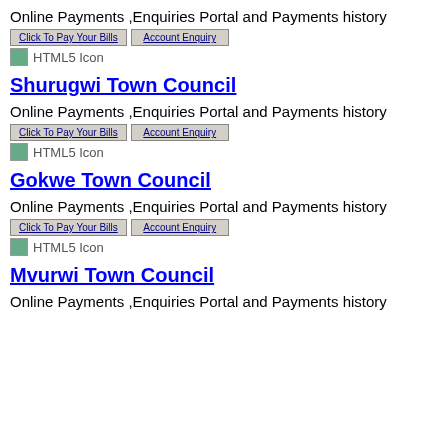Online Payments ,Enquiries Portal and Payments history
[Figure (screenshot): Buttons: Click To Pay Your Bills, Account Enquiry, and HTML5 Icon placeholder]
Shurugwi Town Council
Online Payments ,Enquiries Portal and Payments history
[Figure (screenshot): Buttons: Click To Pay Your Bills, Account Enquiry, and HTML5 Icon placeholder]
Gokwe Town Council
Online Payments ,Enquiries Portal and Payments history
[Figure (screenshot): Buttons: Click To Pay Your Bills, Account Enquiry, and HTML5 Icon placeholder]
Mvurwi Town Council
Online Payments ,Enquiries Portal and Payments history